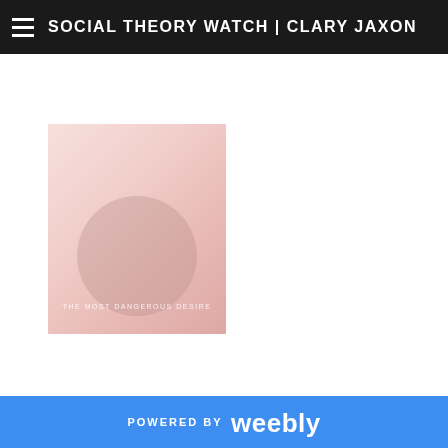SOCIAL THEORY WATCH | CLARY JAXON
[Figure (illustration): Book cover with pink/rose gradient background, circular shape, and text reading 'THE MOST DANGEROUS DESIRE']
[Figure (illustration): Book cover with light gray/blue gradient, italic text reading 'feminist activism in the supreme court', with a figure illustration]
POWERED BY weebly